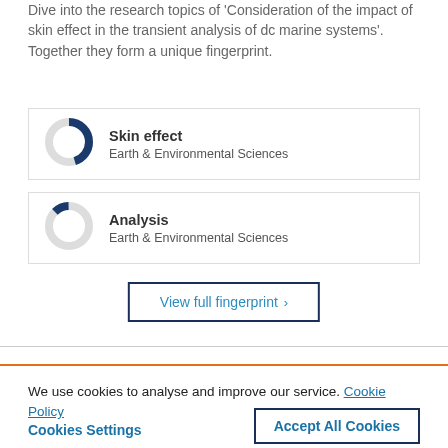Dive into the research topics of 'Consideration of the impact of skin effect in the transient analysis of dc marine systems'. Together they form a unique fingerprint.
[Figure (donut-chart): Donut chart showing Skin effect metric, mostly filled dark blue (~70%)]
[Figure (donut-chart): Donut chart showing Analysis metric, small dark blue slice (~12%)]
View full fingerprint >
We use cookies to analyse and improve our service. Cookie Policy
Cookies Settings
Accept All Cookies